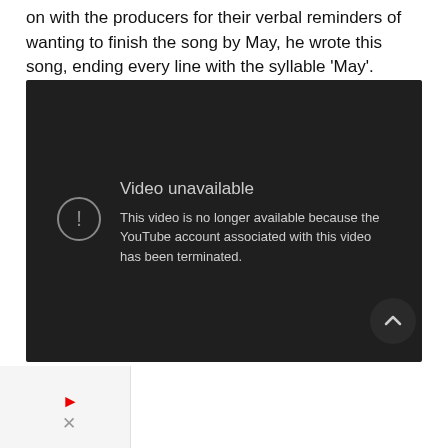on with the producers for their verbal reminders of wanting to finish the song by May, he wrote this song, ending every line with the syllable 'May'. Listen to the song 😄
[Figure (screenshot): YouTube embedded video player showing 'Video unavailable' error message. Dark background with error icon and text: 'This video is no longer available because the YouTube account associated with this video has been terminated.']